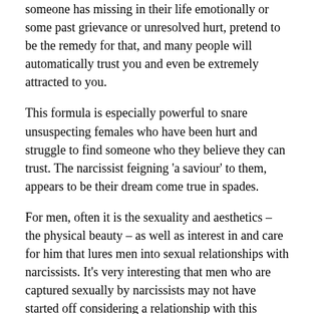someone has missing in their life emotionally or some past grievance or unresolved hurt, pretend to be the remedy for that, and many people will automatically trust you and even be extremely attracted to you.
This formula is especially powerful to snare unsuspecting females who have been hurt and struggle to find someone who they believe they can trust. The narcissist feigning 'a saviour' to them, appears to be their dream come true in spades.
For men, often it is the sexuality and aesthetics – the physical beauty – as well as interest in and care for him that lures men into sexual relationships with narcissists. It's very interesting that men who are captured sexually by narcissists may not have started off considering a relationship with this person, but discovered that very quickly they found themselves in one.
This is because, once a narcissist connects sexually, they have more ability to induce trauma bonding and get control over their prey.